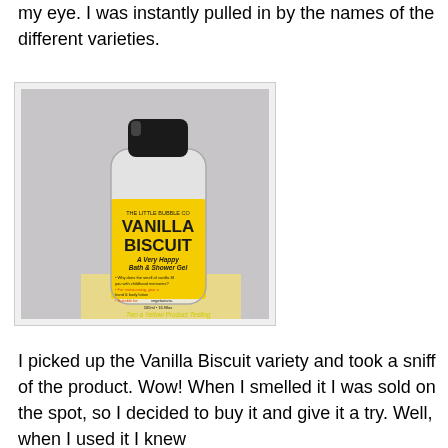my eye. I was instantly pulled in by the names of the different varieties.
[Figure (photo): A clear plastic bottle of 'Vanilla Biscuit A Very Happy Bath & Shower Gel' by The Little Bubble Co, with a yellow label and black cap, placed on a light yellow surface against a grey background. Watermark reads 'Two a Yellow Product Testing'.]
I picked up the Vanilla Biscuit variety and took a sniff of the product. Wow! When I smelled it I was sold on the spot, so I decided to buy it and give it a try. Well, when I used it I knew that I had made an excellent purchase.